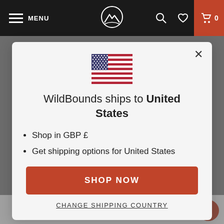MENU | WildBounds logo | Search | Wishlist | Cart 0
[Figure (screenshot): US flag icon displayed at top of modal dialog]
WildBounds ships to United States
Shop in GBP £
Get shipping options for United States
SHOP NOW
CHANGE SHIPPING COUNTRY
lty | Garden Trading | Klyr